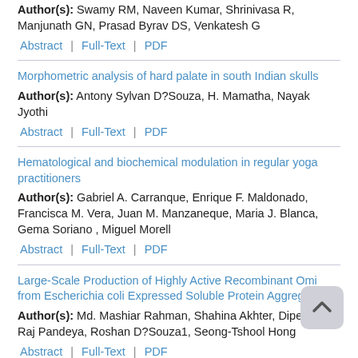Author(s): Swamy RM, Naveen Kumar, Shrinivasa R, Manjunath GN, Prasad Byrav DS, Venkatesh G
Abstract | Full-Text | PDF
Morphometric analysis of hard palate in south Indian skulls
Author(s): Antony Sylvan D?Souza, H. Mamatha, Nayak Jyothi
Abstract | Full-Text | PDF
Hematological and biochemical modulation in regular yoga practitioners
Author(s): Gabriel A. Carranque, Enrique F. Maldonado, Francisca M. Vera, Juan M. Manzaneque, Maria J. Blanca, Gema Soriano , Miguel Morell
Abstract | Full-Text | PDF
Large-Scale Production of Highly Active Recombinant Omi from Escherichia coli Expressed Soluble Protein Aggregates
Author(s): Md. Mashiar Rahman, Shahina Akhter, Dipendra Raj Pandeya, Roshan D?Souza1, Seong-Tshool Hong
Abstract | Full-Text | PDF